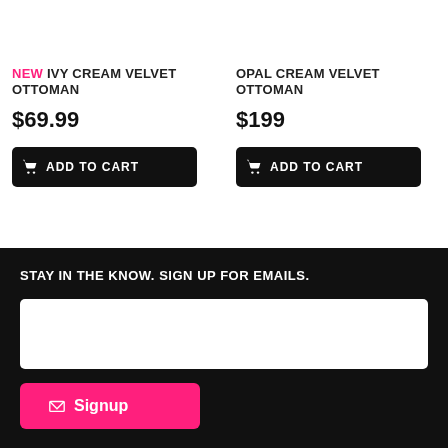NEW IVY CREAM VELVET OTTOMAN
$69.99
ADD TO CART
OPAL CREAM VELVET OTTOMAN
$199
ADD TO CART
STAY IN THE KNOW. SIGN UP FOR EMAILS.
Signup